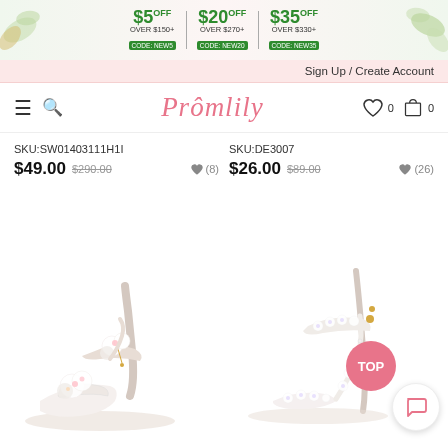[Figure (infographic): Promotional banner with discount offers: $5 OFF over $150+ CODE:NEW5, $20 OFF over $270+ CODE:NEW20, $35 OFF over $330+ CODE:NEW35, with leaf decorations]
Sign Up / Create Account
Promlily — navigation bar with hamburger menu, search icon, heart (0) and cart (0)
SKU:SW01403111H1I
$49.00  $290.00  ♥(8)
SKU:DE3007
$26.00  $89.00  ♥(26)
[Figure (photo): White floral heeled sandal with flower embellishments and ankle strap]
[Figure (photo): White lace floral strappy high heel sandal with ankle strap and pearl/flower details]